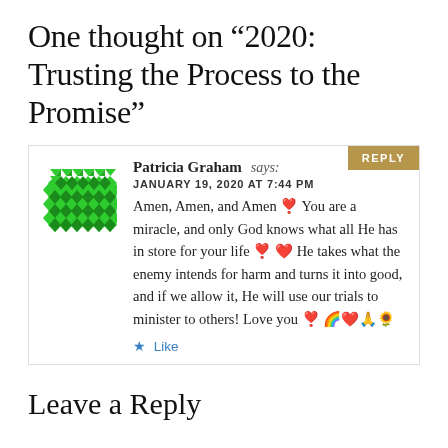One thought on “2020: Trusting the Process to the Promise”
Patricia Graham says:
JANUARY 19, 2020 AT 7:44 PM
Amen, Amen, and Amen ❣️ You are a miracle, and only God knows what all He has in store for your life ❣️ ❤️ He takes what the enemy intends for harm and turns it into good, and if we allow it, He will use our trials to minister to others! Love you ❣️ 🌈❤️🙏🌻
Like
Leave a Reply